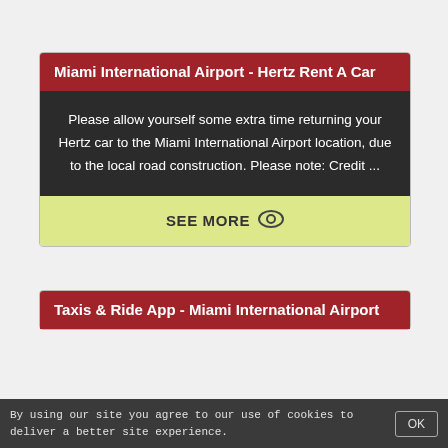Miami International Airport - Hertz Rent A Car
Please allow yourself some extra time returning your Hertz car to the Miami International Airport location, due to the local road construction. Please note: Credit ...
SEE MORE
Taxis & Ride App - Miami International Airport
By using our site you agree to our use of cookies to deliver a better site experience.